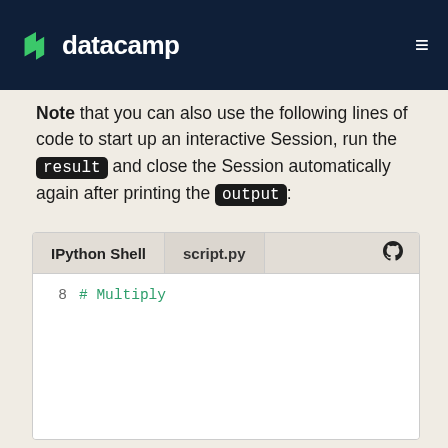datacamp
Note that you can also use the following lines of code to start up an interactive Session, run the result and close the Session automatically again after printing the output:
[Figure (screenshot): Code editor panel with two tabs: IPython Shell and script.py (active). Editor body shows line 8 with comment '# Multiply'. GitHub icon in top right of tab bar.]